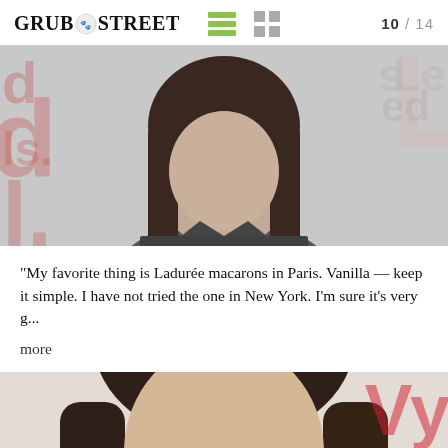GRUB.STREET  10 / 14
[Figure (photo): Partial view of a woman with long dark hair at a public event, with event signage visible in background (letters 's', 'ed', 'L' visible)]
"My favorite thing is Ladurée macarons in Paris. Vanilla — keep it simple. I have not tried the one in New York. I'm sure it's very g...
more
[Figure (photo): Woman with long brown highlighted hair at a red-carpet/event, partial view cropped at forehead and below, with red logo text visible top right]